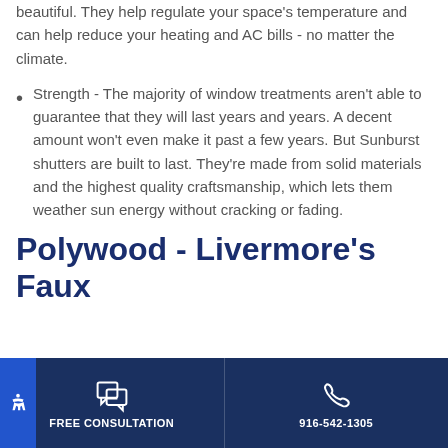beautiful. They help regulate your space's temperature and can help reduce your heating and AC bills - no matter the climate.
Strength - The majority of window treatments aren't able to guarantee that they will last years and years. A decent amount won't even make it past a few years. But Sunburst shutters are built to last. They're made from solid materials and the highest quality craftsmanship, which lets them weather sun energy without cracking or fading.
Polywood - Livermore's Faux
FREE CONSULTATION | 916-542-1305